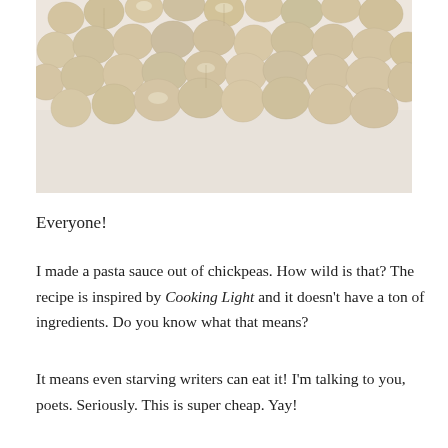[Figure (photo): Close-up photo of dried chickpeas/garbanzo beans spread out, with a light beige/cream background]
Everyone!
I made a pasta sauce out of chickpeas. How wild is that? The recipe is inspired by Cooking Light and it doesn't have a ton of ingredients. Do you know what that means?
It means even starving writers can eat it! I'm talking to you, poets. Seriously. This is super cheap. Yay!